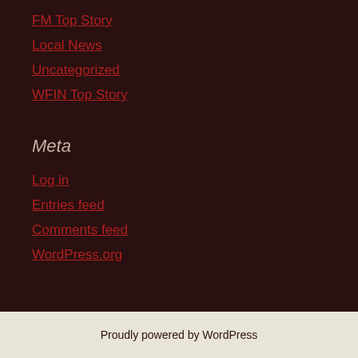FM Top Story
Local News
Uncategorized
WFIN Top Story
Meta
Log in
Entries feed
Comments feed
WordPress.org
Proudly powered by WordPress